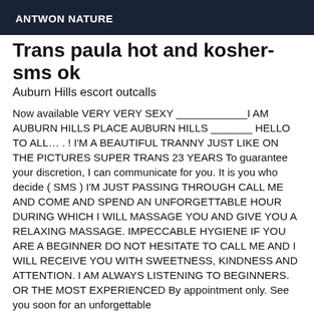ANTWON NATURE
Trans paula hot and kosher-sms ok
Auburn Hills escort outcalls
Now available VERY VERY SEXY ____________I AM AUBURN HILLS PLACE AUBURN HILLS _______ HELLO TO ALL… . ! I'M A BEAUTIFUL TRANNY JUST LIKE ON THE PICTURES SUPER TRANS 23 YEARS To guarantee your discretion, I can communicate for you. It is you who decide ( SMS ) I'M JUST PASSING THROUGH CALL ME AND COME AND SPEND AN UNFORGETTABLE HOUR DURING WHICH I WILL MASSAGE YOU AND GIVE YOU A RELAXING MASSAGE. IMPECCABLE HYGIENE IF YOU ARE A BEGINNER DO NOT HESITATE TO CALL ME AND I WILL RECEIVE YOU WITH SWEETNESS, KINDNESS AND ATTENTION. I AM ALWAYS LISTENING TO BEGINNERS. OR THE MOST EXPERIENCED By appointment only. See you soon for an unforgettable